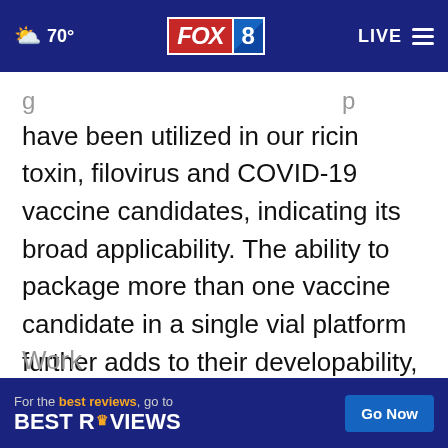[Figure (screenshot): FOX 8 news website header navigation bar with weather (70°), FOX 8 logo, LIVE button and hamburger menu on dark blue background]
have been utilized in our ricin toxin, filovirus and COVID-19 vaccine candidates, indicating its broad applicability. The ability to package more than one vaccine candidate in a single vial platform further adds to their developability, whether as a multivalent or individual monovalent vaccine, particularly against Sudan ebolavirus and Marburg marburgvirus where there are currently no available vaccine
Work
[Figure (other): BestReviews advertisement banner: 'For the best reviews, go to BESTREVIEWS' with a 'Go Now' button]